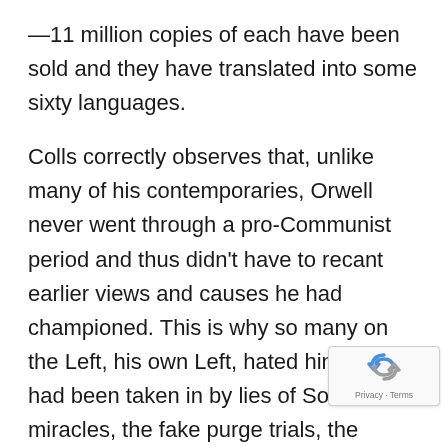—11 million copies of each have been sold and they have translated into some sixty languages.
Colls correctly observes that, unlike many of his contemporaries, Orwell never went through a pro-Communist period and thus didn't have to recant earlier views and causes he had championed. This is why so many on the Left, his own Left, hated him. They had been taken in by lies of Soviet miracles, the fake purge trials, the various twists and turns of Stalin's foreign policy. Orwell hadn't. As he wrote he knew from the beginning that the Communist Eden was based on lies.